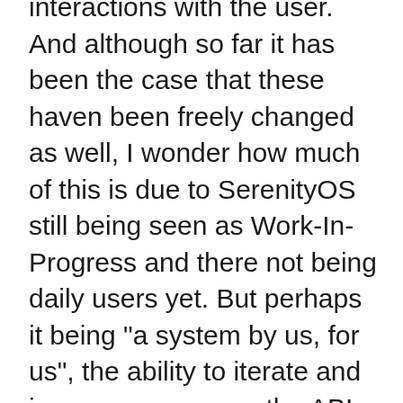interactions with the user. And although so far it has been the case that these haven been freely changed as well, I wonder how much of this is due to SerenityOS still being seen as Work-In-Progress and there not being daily users yet. But perhaps it being "a system by us, for us", the ability to iterate and improve upon even the ABI will be seen as more important than keeping it stable. I guess we'll see.
When it comes to contributing to the project myself, so far I've done just a couple ones, mainly the most basic support for showing album covers in the sound player